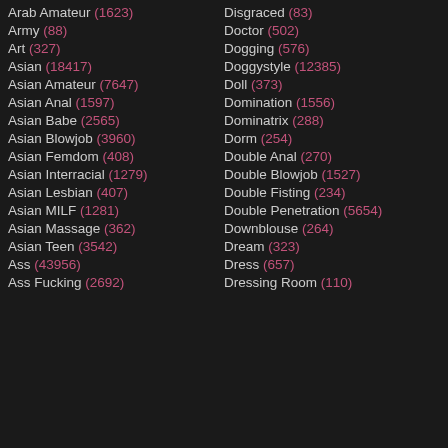Arab Amateur (1623)
Army (88)
Art (327)
Asian (18417)
Asian Amateur (7647)
Asian Anal (1597)
Asian Babe (2565)
Asian Blowjob (3960)
Asian Femdom (408)
Asian Interracial (1279)
Asian Lesbian (407)
Asian MILF (1281)
Asian Massage (362)
Asian Teen (3542)
Ass (43956)
Ass Fucking (2692)
Disgraced (83)
Doctor (502)
Dogging (576)
Doggystyle (12385)
Doll (373)
Domination (1556)
Dominatrix (288)
Dorm (254)
Double Anal (270)
Double Blowjob (1527)
Double Fisting (234)
Double Penetration (5654)
Downblouse (264)
Dream (323)
Dress (657)
Dressing Room (110)